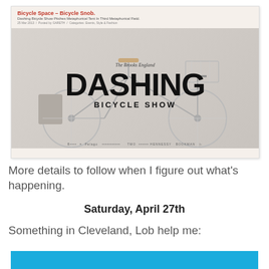[Figure (screenshot): Screenshot of a blog post from Bicycle Space titled 'Bicycle Space – Bicycle Snob.' with a subtitle about Dashing Bicycle Show, dated 25 Mar 2013 by GARETH. The main image shows a bicycle with 'The Brooks England DASHING BICYCLE SHOW' text overlay, along with sponsor logos at the bottom.]
More details to follow when I figure out what's happening.
Saturday, April 27th
Something in Cleveland, Lob help me:
[Figure (screenshot): Blue banner/image, partially visible at bottom of page]